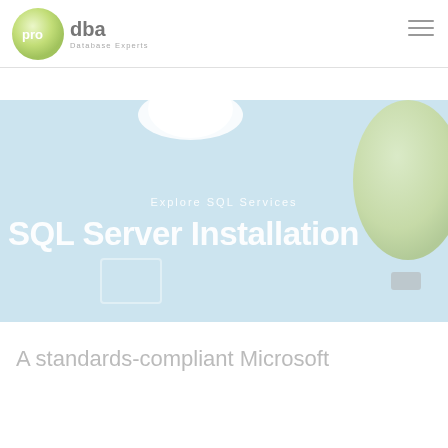[Figure (logo): proDBA Database Experts logo with green circle and text]
[Figure (illustration): Hero banner with light blue background, white cloud, yellow-green hot air balloon, and decorative basket elements]
Explore SQL Services
SQL Server Installation
A standards-compliant Microsoft